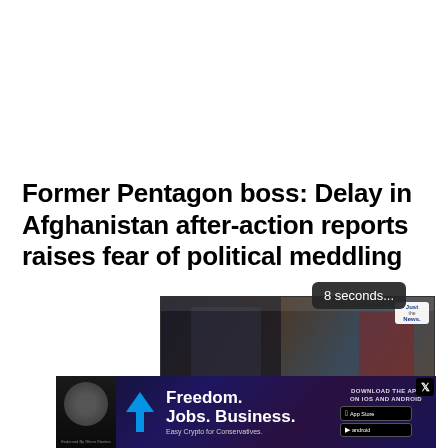Former Pentagon boss: Delay in Afghanistan after-action reports raises fear of political meddling
[Figure (screenshot): Video player showing a news clip from Just the News. Two masked individuals appear in the thumbnail. A '8 seconds...' countdown bubble appears above the player. Video controls visible at bottom including pause, back, settings, caption, and Just the News logo.]
[Figure (photo): Advertisement banner for a conservative news/crypto app. Text reads 'Freedom. Jobs. Business. Easy Crypto for Conservatives.' with download links for iOS and Android. Endorsed by Glenn Stanton. X (Twitter) badge visible.]